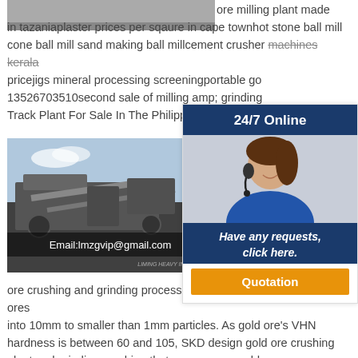[Figure (photo): Gray industrial image at top left, partially cropped]
ore milling plant made in tazaniaplaster prices per sqaure in cape townhot stone ball mill cone ball mill sand making ball millcement crusher machines kerala pricejigs mineral processing screeningportable go 13526703510second sale of milling amp; grinding Track Plant For Sale In The Philippinesfingerboar
[Figure (infographic): 24/7 Online sidebar with customer service agent photo, 'Have any requests, click here.' text and Quotation button]
[Figure (photo): Mining equipment / crusher plant photo with Email:lmzgvip@gmail.com overlay and LIMING HEAVY INDUSTRY watermark]
Min Sm Mill Gold pro ore processing plant is widely used in gold ore crushing and grinding process to resize and pulverize gold ores into 10mm to smaller than 1mm particles. As gold ore's VHN hardness is between 60 and 105, SKD design gold ore crushing plant and grinding machine that can process gold ore.